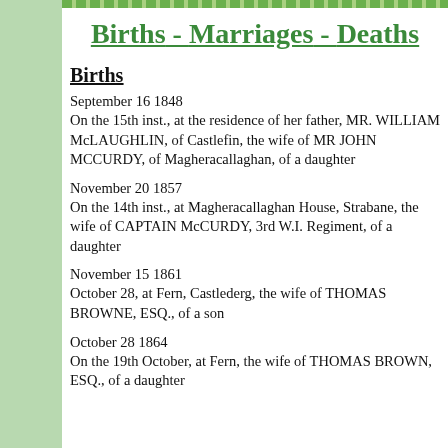Births - Marriages - Deaths
Births
September 16 1848
On the 15th inst., at the residence of her father, MR. WILLIAM McLAUGHLIN, of Castlefin, the wife of MR JOHN MCCURDY, of Magheracallaghan, of a daughter
November 20 1857
On the 14th inst., at Magheracallaghan House, Strabane, the wife of CAPTAIN McCURDY, 3rd W.I. Regiment, of a daughter
November 15 1861
October 28, at Fern, Castlederg, the wife of THOMAS BROWNE, ESQ., of a son
October 28 1864
On the 19th October, at Fern, the wife of THOMAS BROWN, ESQ., of a daughter